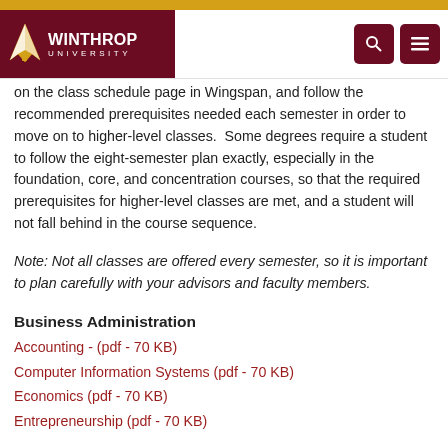Winthrop University
on the class schedule page in Wingspan, and follow the recommended prerequisites needed each semester in order to move on to higher-level classes.  Some degrees require a student to follow the eight-semester plan exactly, especially in the foundation, core, and concentration courses, so that the required prerequisites for higher-level classes are met, and a student will not fall behind in the course sequence.
Note: Not all classes are offered every semester, so it is important to plan carefully with your advisors and faculty members.
Business Administration
Accounting - (pdf - 70 KB)
Computer Information Systems (pdf - 70 KB)
Economics (pdf - 70 KB)
Entrepreneurship (pdf - 70 KB)